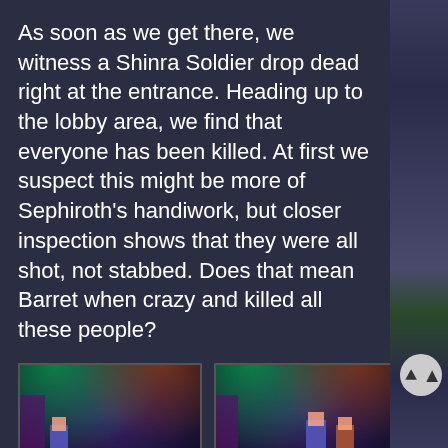As soon as we get there, we witness a Shinra Soldier drop dead right at the entrance. Heading up to the lobby area, we find that everyone has been killed. At first we suspect this might be more of Sephiroth's handiwork, but closer inspection shows that they were all shot, not stabbed. Does that mean Barret when crazy and killed all these people?
[Figure (screenshot): Final Fantasy VII game screenshot showing a scene with checkered floor and characters, with a blue dialog box reading: 'Ugh...ugh...a man with a gun...on his arm....']
[Figure (screenshot): Final Fantasy VII game screenshot showing a similar scene, with a blue dialog box with name 'Dio' reading: 'Did you guys do this!?']